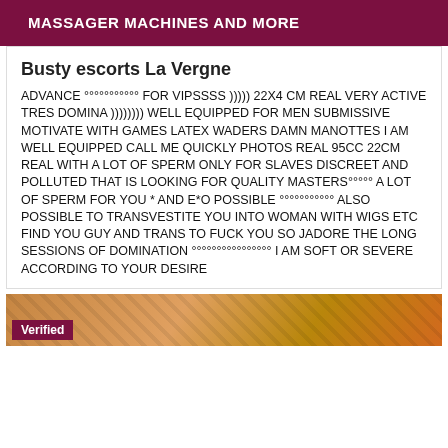MASSAGER MACHINES AND MORE
Busty escorts La Vergne
ADVANCE °°°°°°°°°°° FOR VIPSSSS ))))) 22X4 CM REAL VERY ACTIVE TRES DOMINA )))))))) WELL EQUIPPED FOR MEN SUBMISSIVE MOTIVATE WITH GAMES LATEX WADERS DAMN MANOTTES I AM WELL EQUIPPED CALL ME QUICKLY PHOTOS REAL 95CC 22CM REAL WITH A LOT OF SPERM ONLY FOR SLAVES DISCREET AND POLLUTED THAT IS LOOKING FOR QUALITY MASTERS°°°°° A LOT OF SPERM FOR YOU * AND E*O POSSIBLE °°°°°°°°°°° ALSO POSSIBLE TO TRANSVESTITE YOU INTO WOMAN WITH WIGS ETC FIND YOU GUY AND TRANS TO FUCK YOU SO JADORE THE LONG SESSIONS OF DOMINATION °°°°°°°°°°°°°°°° I AM SOFT OR SEVERE ACCORDING TO YOUR DESIRE
[Figure (photo): Bottom image bar with brown/orange tones and a 'Verified' badge overlay in dark red]